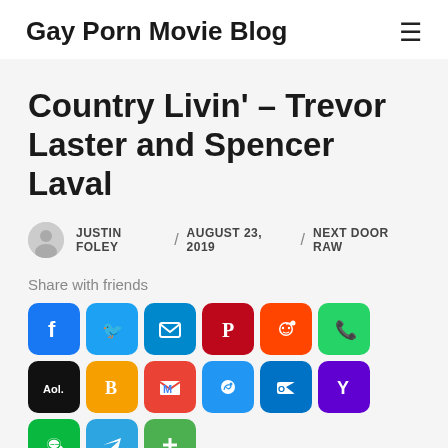Gay Porn Movie Blog
Country Livin' – Trevor Laster and Spencer Laval
JUSTIN FOLEY / AUGUST 23, 2019 / NEXT DOOR RAW
Share with friends
[Figure (infographic): Social media share buttons: Facebook, Twitter, Email, Pinterest, Reddit, WhatsApp, AOL, Blogger, Gmail, Messenger, Outlook, Yahoo, WeChat, Telegram, More]
[Figure (photo): Partial photo strip at bottom of page]